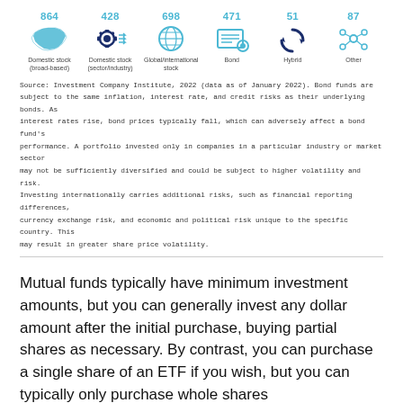[Figure (infographic): Six ETF category icons with counts: Domestic stock (broad-based) 864, Domestic stock (sector/industry) 428, Global/international stock 698, Bond 471, Hybrid 51, Other 87]
Source: Investment Company Institute, 2022 (data as of January 2022). Bond funds are subject to the same inflation, interest rate, and credit risks as their underlying bonds. As interest rates rise, bond prices typically fall, which can adversely affect a bond fund's performance. A portfolio invested only in companies in a particular industry or market sector may not be sufficiently diversified and could be subject to higher volatility and risk. Investing internationally carries additional risks, such as financial reporting differences, currency exchange risk, and economic and political risk unique to the specific country. This may result in greater share price volatility.
Mutual funds typically have minimum investment amounts, but you can generally invest any dollar amount after the initial purchase, buying partial shares as necessary. By contrast, you can purchase a single share of an ETF if you wish, but you can typically only purchase whole shares